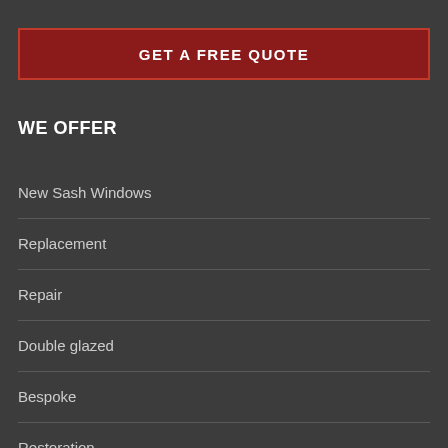GET A FREE QUOTE
WE OFFER
New Sash Windows
Replacement
Repair
Double glazed
Bespoke
Restoration